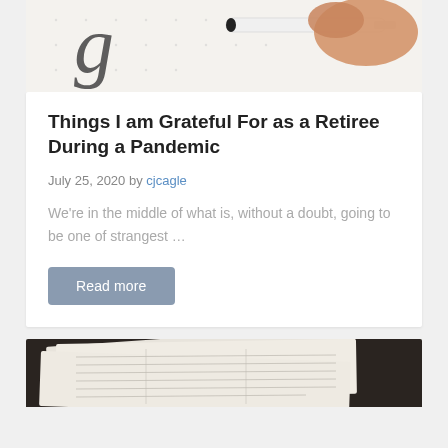[Figure (photo): Hand holding a marker writing on dotted paper, close-up photo]
Things I am Grateful For as a Retiree During a Pandemic
July 25, 2020 by cjcagle
We're in the middle of what is, without a doubt, going to be one of strangest …
Read more
[Figure (photo): Stack of tax or financial forms on a dark surface, close-up photo]